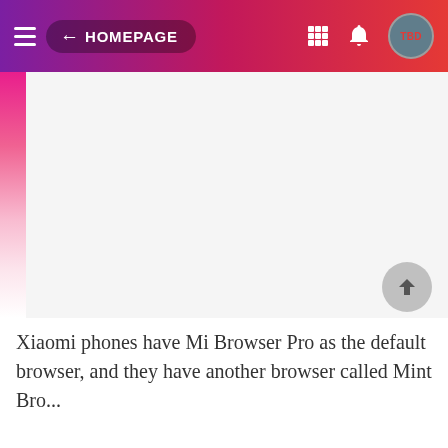HOMEPAGE
[Figure (screenshot): White content area placeholder, likely an advertisement or image that failed to load, with a pink/red left sidebar strip.]
Xiaomi phones have Mi Browser Pro as the default browser, and they have another browser called Mint Browser. According to Google Play's store, the...